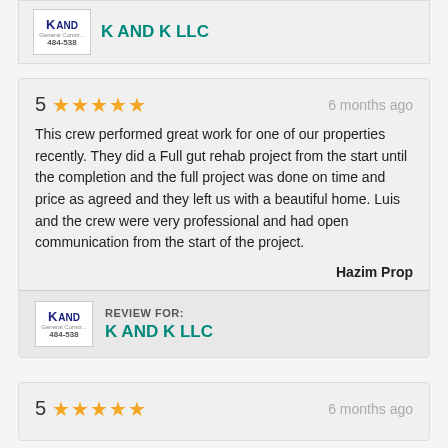[Figure (logo): K AND K LLC company logo with phone number 484-538]
K AND K LLC
5 ★★★★★   6 months ago
This crew performed great work for one of our properties recently. They did a Full gut rehab project from the start until the completion and the full project was done on time and price as agreed and they left us with a beautiful home. Luis and the crew were very professional and had open communication from the start of the project.
Hazim Prop
REVIEW FOR: K AND K LLC
5 ★★★★★   6 months ago